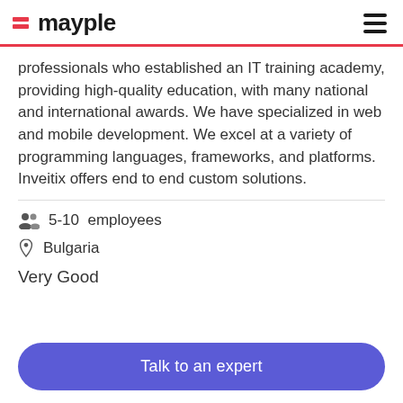mayple
professionals who established an IT training academy, providing high-quality education, with many national and international awards. We have specialized in web and mobile development. We excel at a variety of programming languages, frameworks, and platforms. Inveitix offers end to end custom solutions.
5-10  employees
Bulgaria
Very Good
Talk to an expert